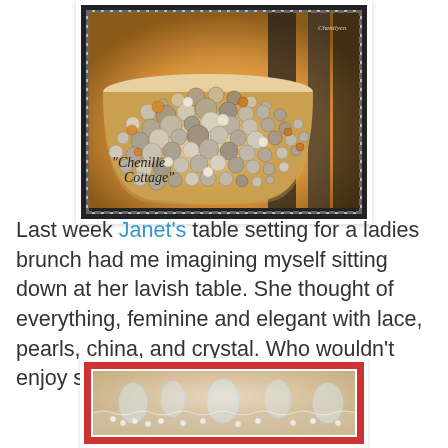[Figure (photo): A lamp shade covered entirely in buttons of various sizes and neutral/brown tones, displayed in a stamp-style frame with dark border and perforated edges. 'Chenille Cottage' text appears in italic script at the bottom left of the image. A small watermark reads 'Chenilyen' in the top right corner.]
Last week Janet's table setting for a ladies brunch had me imagining myself sitting down at her lavish table. She thought of everything, feminine and elegant with lace, pearls, china, and crystal. Who wouldn't enjoy sitting at her table!
[Figure (photo): A partial view of an elegant table setting with lace, pearls, china, and crystal items, shown in a red-framed border at the bottom of the page.]